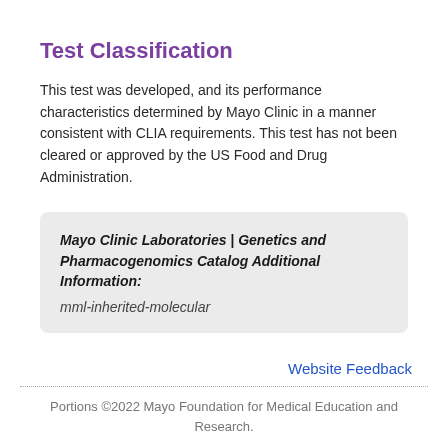Test Classification
This test was developed, and its performance characteristics determined by Mayo Clinic in a manner consistent with CLIA requirements. This test has not been cleared or approved by the US Food and Drug Administration.
Mayo Clinic Laboratories | Genetics and Pharmacogenomics Catalog Additional Information:
mml-inherited-molecular
Website Feedback
Portions ©2022 Mayo Foundation for Medical Education and Research.